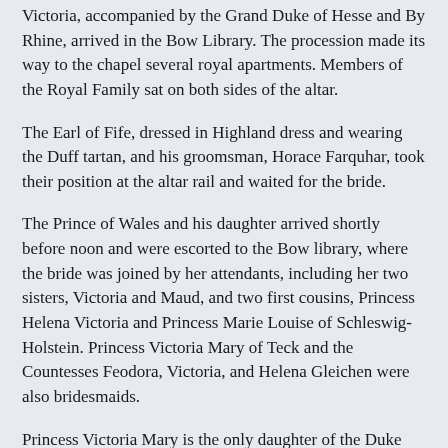Victoria, accompanied by the Grand Duke of Hesse and By Rhine, arrived in the Bow Library. The procession made its way to the chapel several royal apartments. Members of the Royal Family sat on both sides of the altar.
The Earl of Fife, dressed in Highland dress and wearing the Duff tartan, and his groomsman, Horace Farquhar, took their position at the altar rail and waited for the bride.
The Prince of Wales and his daughter arrived shortly before noon and were escorted to the Bow library, where the bride was joined by her attendants, including her two sisters, Victoria and Maud, and two first cousins, Princess Helena Victoria and Princess Marie Louise of Schleswig-Holstein. Princess Victoria Mary of Teck and the Countesses Feodora, Victoria, and Helena Gleichen were also bridesmaids.
Princess Victoria Mary is the only daughter of the Duke and Duchess of Teck. The Duchess of Teck is the former Princess Mary Adelaide of Cambridge and is one of the Queen's first cousins. The three Gleichen girls are the daughter of Prince Victor of Hohenlohe-Langenburg and his morganatic wife, Laura Seymour. Victoria was named for Queen Victoria and is the one of the Queen's